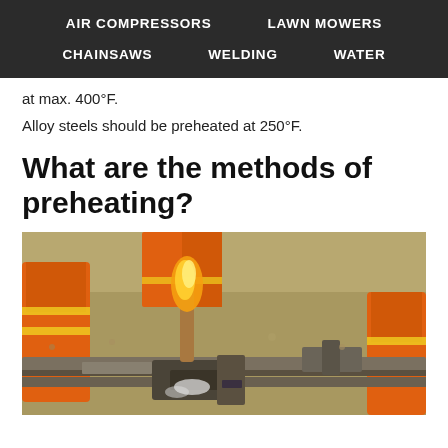AIR COMPRESSORS   LAWN MOWERS   CHAINSAWS   WELDING   WATER
at max. 400°F.
Alloy steels should be preheated at 250°F.
What are the methods of preheating?
[Figure (photo): Workers in orange high-visibility jackets using a flame torch to preheat a steel rail on a track, with gravel and metal fixtures visible, steam rising from the heated metal.]